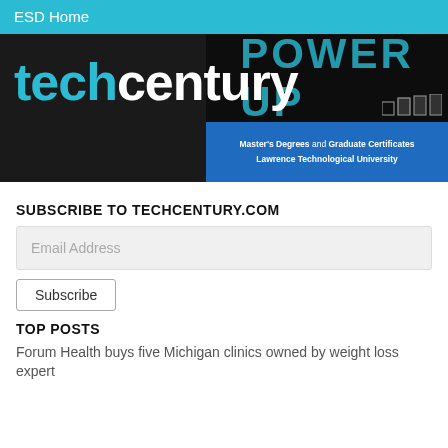ESD Home
[Figure (logo): techcentury logo on dark background with Power Up promotion and bar chart icons, plus blue section with Master's Degrees and Graduate Certificates Lawrence Technological University]
SUBSCRIBE TO TECHCENTURY.COM
Email Address
Subscribe
TOP POSTS
Forum Health buys five Michigan clinics owned by weight loss expert